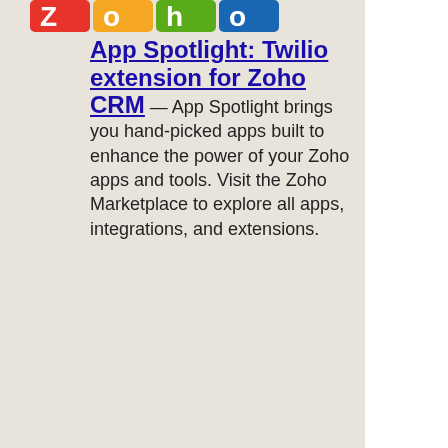[Figure (logo): Zoho logo — colorful Z, O, H, O letter blocks in red, yellow, green, blue]
App Spotlight: Twilio extension for Zoho CRM — App Spotlight brings you hand-picked apps built to enhance the power of your Zoho apps and tools.  Visit the Zoho Marketplace to explore all apps, integrations, and extensions.
MicroAcquire:
[Figure (logo): MicroAcquire logo — bold dark blue text MICROACQUIRE]
New opportunities are waiting for you — Join 100,000+